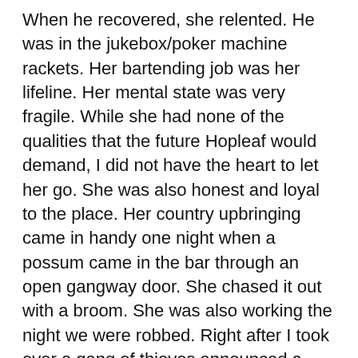When he recovered, she relented. He was in the jukebox/poker machine rackets. Her bartending job was her lifeline. Her mental state was very fragile. While she had none of the qualities that the future Hopleaf would demand, I did not have the heart to let her go. She was also honest and loyal to the place. Her country upbringing came in handy one night when a possum came in the bar through an open gangway door. She chased it out with a broom. She was also working the night we were robbed. Right after I took over a gang of thieves announced a robbery, not of the cash register or of the customers, but of the three poker machines which they jimmied open knowing that the crime would not be reported since they were nit legal. She stayed cool and no one was hurt.
I had planned to remove the machines soon anyway even though they represented the sole profit that the bar was making. After the robbery, I had them removed